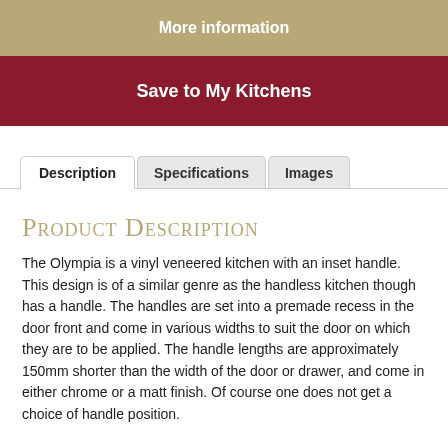More information
Save to My Kitchens
Description
Specifications
Images
Product Description
The Olympia is a vinyl veneered kitchen with an inset handle. This design is of a similar genre as the handless kitchen though has a handle. The handles are set into a premade recess in the door front and come in various widths to suit the door on which they are to be applied. The handle lengths are approximately 150mm shorter than the width of the door or drawer, and come in either chrome or a matt finish. Of course one does not get a choice of handle position.